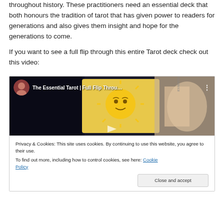throughout history. These practitioners need an essential deck that both honours the tradition of tarot that has given power to readers for generations and also gives them insight and hope for the generations to come.

If you want to see a full flip through this entire Tarot deck check out this video:
[Figure (screenshot): YouTube video thumbnail for 'The Essential Tarot | Full Flip Throu...' showing a tarot card with a sun face illustration and a hand flipping through cards, with a circular avatar of a woman in the top left corner.]
Privacy & Cookies: This site uses cookies. By continuing to use this website, you agree to their use.
To find out more, including how to control cookies, see here: Cookie Policy
Close and accept